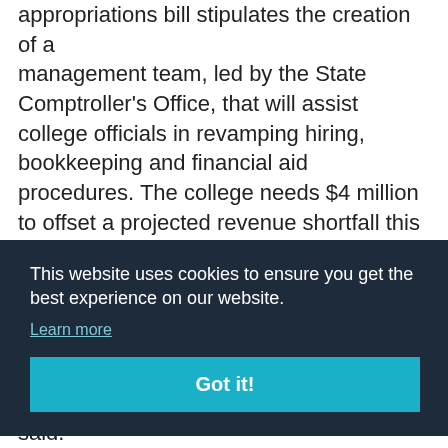appropriations bill stipulates the creation of a management team, led by the State Comptroller's Office, that will assist college officials in revamping hiring, bookkeeping and financial aid procedures. The college needs $4 million to offset a projected revenue shortfall this fiscal year because of financial aid and other problems, according to state auditors.
f the ons h.
[Figure (screenshot): Cookie consent overlay with dark background. Text reads: 'This website uses cookies to ensure you get the best experience on our website.' with a 'Learn more' link and a 'Got it!' button in teal.]
d
said.